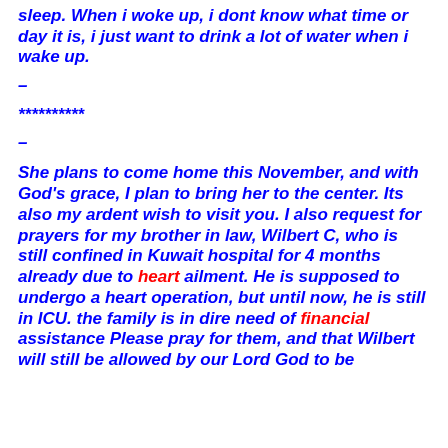sleep. When i woke up, i dont know what time or day it is, i just want to drink a lot of water when i wake up.
–
**********
–
She plans to come home this November, and with God's grace, I plan to bring her to the center. Its also my ardent wish to visit you. I also request for prayers for my brother in law, Wilbert C, who is still confined in Kuwait hospital for 4 months already due to heart ailment. He is supposed to undergo a heart operation, but until now, he is still in ICU. the family is in dire need of financial assistance Please pray for them, and that Wilbert will still be allowed by our Lord God to be